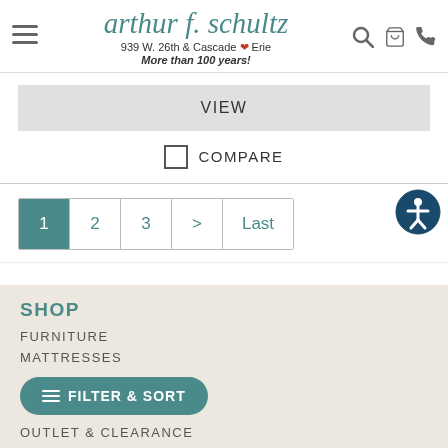[Figure (logo): Arthur F. Schultz furniture store logo with store name, address '939 W. 26th & Cascade Erie' and tagline 'More than 100 years!']
VIEW
COMPARE
1  2  3  >  Last
SHOP
FURNITURE
MATTRESSES
OUTLET & CLEARANCE